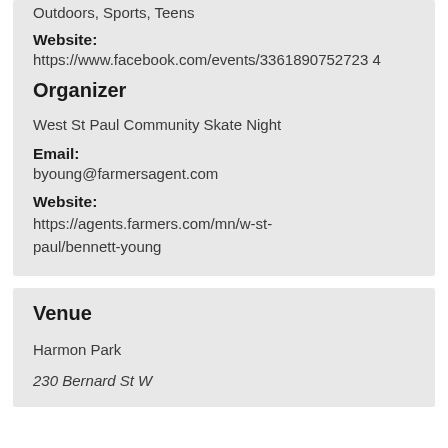Outdoors, Sports, Teens
Website: https://www.facebook.com/events/3361890752723 4
Organizer
West St Paul Community Skate Night
Email: byoung@farmersagent.com
Website: https://agents.farmers.com/mn/w-st-paul/bennett-young
Venue
Harmon Park
230 Bernard St W